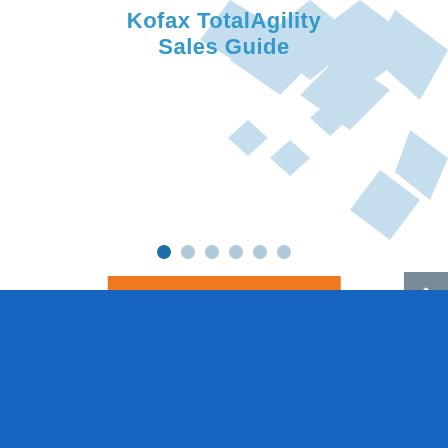Kofax TotalAgility Sales Guide
[Figure (illustration): Orange Learn More button on white background with light blue diamond pattern background]
[Figure (illustration): Carousel navigation dots: 6 dots, first one dark blue (active), rest light blue]
[Figure (illustration): Gray scroll-to-top button with white upward chevron arrow on right edge]
[Figure (illustration): Blue footer section with white handshake icon]